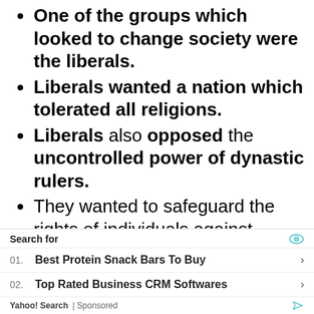One of the groups which looked to change society were the liberals.
Liberals wanted a nation which tolerated all religions.
Liberals also opposed the uncontrolled power of dynastic rulers.
They wanted to safeguard the rights of individuals against governments.
They argued for a representative, elected parliamentary government, subject to laws interpreted by a well-trained judiciary that was independent
Search for
01. Best Protein Snack Bars To Buy
02. Top Rated Business CRM Softwares
Yahoo! Search | Sponsored